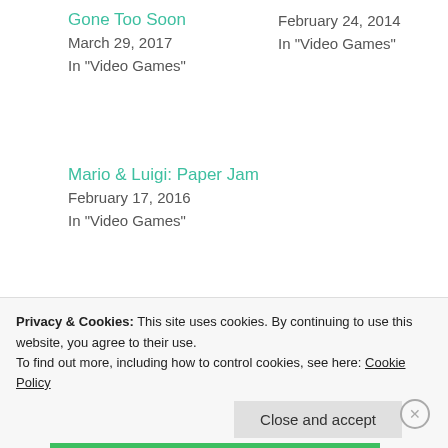Gone Too Soon
March 29, 2017
In "Video Games"
February 24, 2014
In "Video Games"
Mario & Luigi: Paper Jam
February 17, 2016
In "Video Games"
Video Games
• MARIO
• NINTENDO
• PAPER MARIO
• WIIU
Privacy & Cookies: This site uses cookies. By continuing to use this website, you agree to their use.
To find out more, including how to control cookies, see here: Cookie Policy
Close and accept